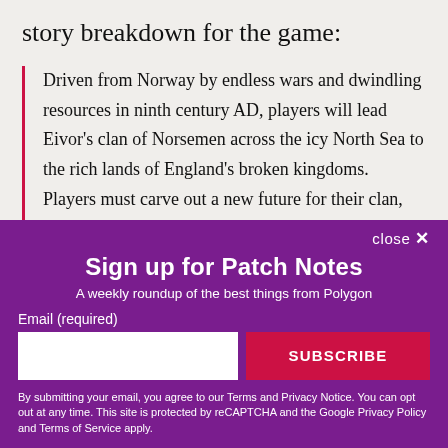story breakdown for the game:
Driven from Norway by endless wars and dwindling resources in ninth century AD, players will lead Eivor's clan of Norsemen across the icy North Sea to the rich lands of England's broken kingdoms. Players must carve out a new future for their clan, reliving the ruthless fighting style of Viking warriors with a
close ✕
Sign up for Patch Notes
A weekly roundup of the best things from Polygon
Email (required)
SUBSCRIBE
By submitting your email, you agree to our Terms and Privacy Notice. You can opt out at any time. This site is protected by reCAPTCHA and the Google Privacy Policy and Terms of Service apply.